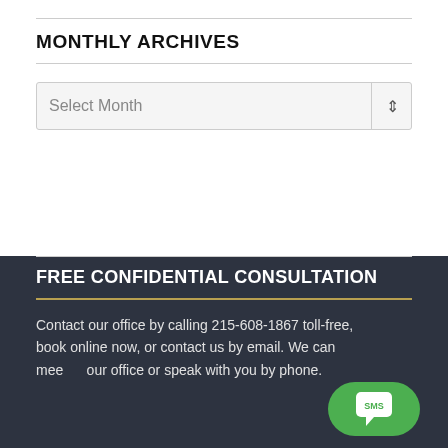MONTHLY ARCHIVES
Select Month
FREE CONFIDENTIAL CONSULTATION
Contact our office by calling 215-608-1867 toll-free, book online now, or contact us by email. We can meet at our office or speak with you by phone.
[Figure (illustration): Green SMS chat bubble button with speech bubble icon labeled 'SMS' and 'Text Us' label below]
Text Us